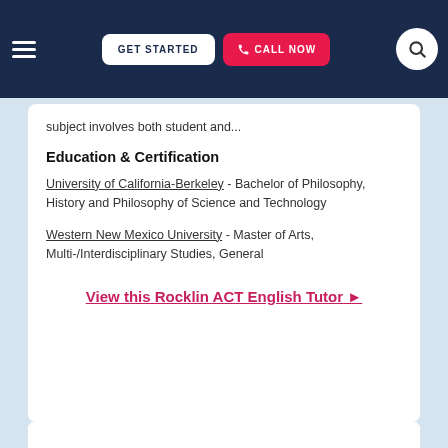GET STARTED  CALL NOW
subject involves both student and...
Education & Certification
University of California-Berkeley - Bachelor of Philosophy, History and Philosophy of Science and Technology
Western New Mexico University - Master of Arts, Multi-/Interdisciplinary Studies, General
View this Rocklin ACT English Tutor ▶